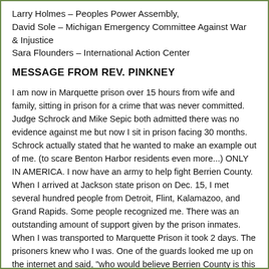Larry Holmes – Peoples Power Assembly,
David Sole – Michigan Emergency Committee Against War & Injustice
Sara Flounders – International Action Center
MESSAGE FROM REV. PINKNEY
I am now in Marquette prison over 15 hours from wife and family, sitting in prison for a crime that was never committed. Judge Schrock and Mike Sepic both admitted there was no evidence against me but now I sit in prison facing 30 months. Schrock actually stated that he wanted to make an example out of me. (to scare Benton Harbor residents even more...) ONLY IN AMERICA. I now have an army to help fight Berrien County. When I arrived at Jackson state prison on Dec. 15, I met several hundred people from Detroit, Flint, Kalamazoo, and Grand Rapids. Some people recognized me. There was an outstanding amount of support given by the prison inmates. When I was transported to Marquette Prison it took 2 days. The prisoners knew who I was. One of the guards looked me up on the internet and said, "who would believe Berrien County is this racist."